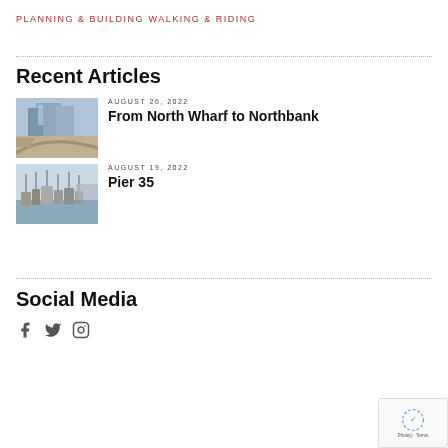PLANNING & BUILDING
WALKING & RIDING
Recent Articles
AUGUST 26, 2022
[Figure (photo): Waterfront boardwalk with modern buildings and curved pathway]
From North Wharf to Northbank
AUGUST 19, 2022
[Figure (photo): Pier with fishing boats docked in a harbor]
Pier 35
Social Media
[Figure (illustration): Social media icons: Facebook, Twitter, Instagram]